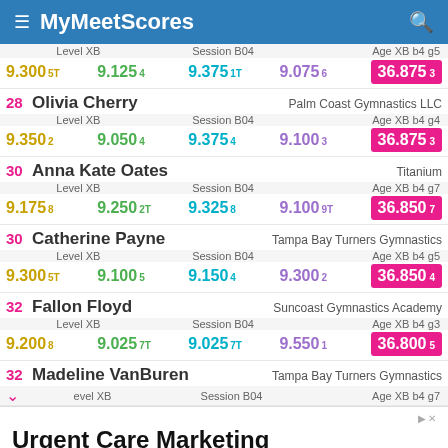MyMeetScores
| Rank | Name | Gym | Level | Session | Age | Score1 | Score2 | Score3 | Score4 | Total |
| --- | --- | --- | --- | --- | --- | --- | --- | --- | --- | --- |
|  |  |  | Level XB | Session B04 | Age XB b4 g5 | 9.300 5T | 9.125 4 | 9.375 1T | 9.075 6 | 36.875 3 |
| 28 | Olivia Cherry | Palm Coast Gymnastics LLC | Level XB | Session B04 | Age XB b4 g4 | 9.350 2 | 9.050 4 | 9.375 4 | 9.100 3 | 36.875 3 |
| 30 | Anna Kate Oates | Titanium | Level XB | Session B04 | Age XB b4 g7 | 9.175 8 | 9.250 2T | 9.325 8 | 9.100 9T | 36.850 7 |
| 30 | Catherine Payne | Tampa Bay Turners Gymnastics | Level XB | Session B04 | Age XB b4 g5 | 9.300 5T | 9.100 5 | 9.150 4 | 9.300 2 | 36.850 4 |
| 32 | Fallon Floyd | Suncoast Gymnastics Academy | Level XB | Session B04 | Age XB b4 g3 | 9.200 8 | 9.025 7T | 9.025 7T | 9.550 1 | 36.800 5 |
| 32 | Madeline VanBuren | Tampa Bay Turners Gymnastics | Level XB | Session B04 | Age XB b4 g7 |  |  |  |  |  |
[Figure (screenshot): Advertisement for Urgent Care Marketing by GMR Web Team with Contact Us button]